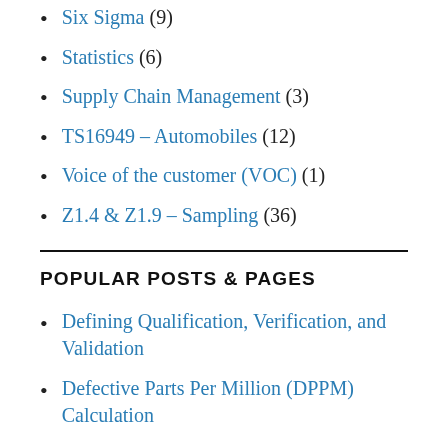Six Sigma (9)
Statistics (6)
Supply Chain Management (3)
TS16949 – Automobiles (12)
Voice of the customer (VOC) (1)
Z1.4 & Z1.9 – Sampling (36)
POPULAR POSTS & PAGES
Defining Qualification, Verification, and Validation
Defective Parts Per Million (DPPM) Calculation
Using the 10:1 Ratio Rule and the 4:1 Ratio Rule